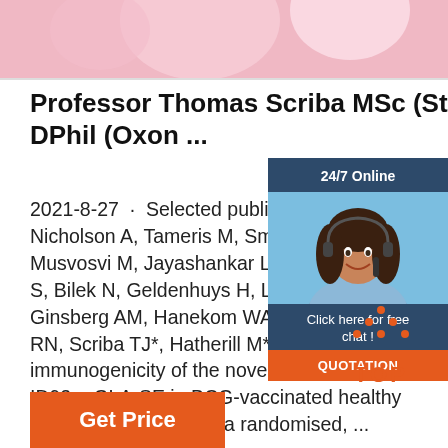[Figure (photo): Top image strip showing partial view of a person or object with pink/rose tones, cropped at the top of the page]
Professor Thomas Scriba MSc (Stell) DPhil (Oxon ...
2021-8-27 · Selected publications: Pe... Nicholson A, Tameris M, Smit E, Day T... Musvosvi M, Jayashankar L, Vergara ... S, Bilek N, Geldenhuys H, Luabeya AK... Ginsberg AM, Hanekom WA, Reed SG... RN, Scriba TJ*, Hatherill M*.Safety and immunogenicity of the novel tuberculosis ID93 + GLA-SE in BCG-vaccinated healthy adults in South Africa: a randomised, ...
[Figure (photo): Chat widget showing a woman with headset smiling, with '24/7 Online' header, 'Click here for free chat!' text, and QUOTATION button]
[Figure (logo): TOP logo with orange triangle/caret above the word TOP in orange]
Get Price